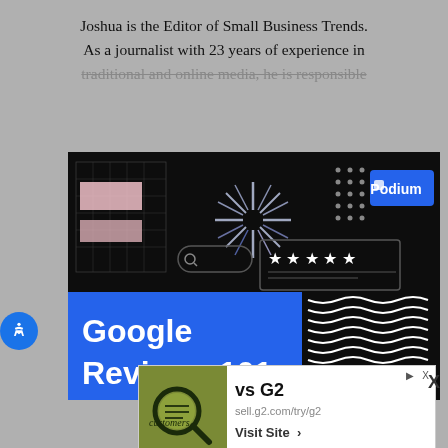Joshua is the Editor of Small Business Trends. As a journalist with 23 years of experience in traditional and online media, he is responsible
[Figure (illustration): Dark-themed promotional image for Podium featuring Google Reviews 101 text in white on blue background, decorative geometric elements, star rating mockup, search bar, and various graphic patterns on black background]
[Figure (advertisement): Ad banner: 'vs G2' with sell.g2.com/try/g2 URL, Visit Site button, and a photo of a magnifying glass over a document with the word customers visible]